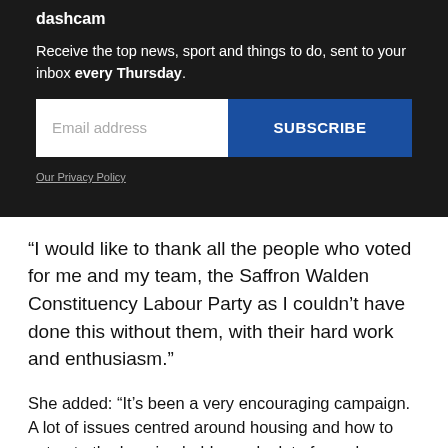dashcam
Receive the top news, sport and things to do, sent to your inbox every Thursday.
Our Privacy Policy
“I would like to thank all the people who voted for me and my team, the Saffron Walden Constituency Labour Party as I couldn’t have done this without them, with their hard work and enthusiasm.”
She added: “It’s been a very encouraging campaign. A lot of issues centred around housing and how to get onto the housing ladder and a lot of people brought up